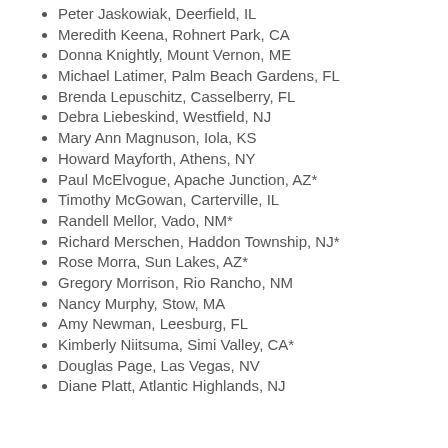Peter Jaskowiak, Deerfield, IL
Meredith Keena, Rohnert Park, CA
Donna Knightly, Mount Vernon, ME
Michael Latimer, Palm Beach Gardens, FL
Brenda Lepuschitz, Casselberry, FL
Debra Liebeskind, Westfield, NJ
Mary Ann Magnuson, Iola, KS
Howard Mayforth, Athens, NY
Paul McElvogue, Apache Junction, AZ*
Timothy McGowan, Carterville, IL
Randell Mellor, Vado, NM*
Richard Merschen, Haddon Township, NJ*
Rose Morra, Sun Lakes, AZ*
Gregory Morrison, Rio Rancho, NM
Nancy Murphy, Stow, MA
Amy Newman, Leesburg, FL
Kimberly Niitsuma, Simi Valley, CA*
Douglas Page, Las Vegas, NV
Diane Platt, Atlantic Highlands, NJ